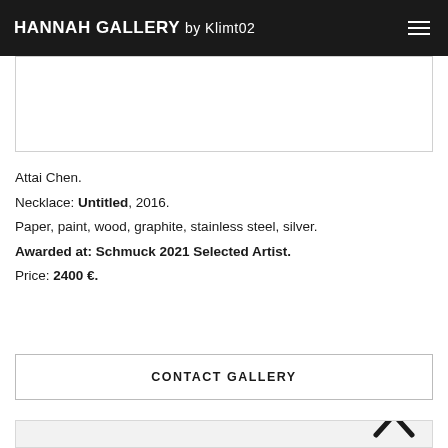HANNAH GALLERY by Klimt02
[Figure (photo): Partial view of artwork image at top, mostly white/empty visible area]
Attai Chen.
Necklace: Untitled, 2016.
Paper, paint, wood, graphite, stainless steel, silver.
Awarded at: Schmuck 2021 Selected Artist.
Price: 2400 €.
CONTACT GALLERY
[Figure (photo): Partial view of a sculptural necklace made of cylindrical tube-like forms, resembling a bundle of tubes or pipes, rendered in a sketch/pencil drawing style on light grey background. A chevron/up arrow icon appears in the bottom right corner.]